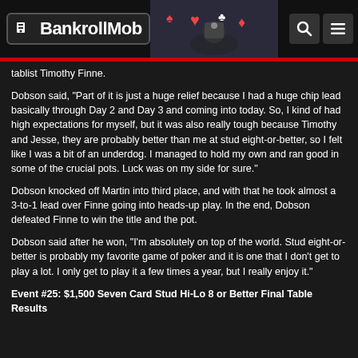The BankrollMob
tablist Timothy Finne.
Dobson said, "Part of it is just a huge relief because I had a huge chip lead basically through Day 2 and Day 3 and coming into today. So, I kind of had high expectations for myself, but it was also really tough because Timothy and Jesse, they are probably better than me at stud eight-or-better, so I felt like I was a bit of an underdog. I managed to hold my own and ran good in some of the crucial pots. Luck was on my side for sure."
Dobson knocked off Martin into third place, and with that he took almost a 3-to-1 lead over Finne going into heads-up play. In the end, Dobson defeated Finne to win the title and the pot.
Dobson said after he won, "I'm absolutely on top of the world. Stud eight-or-better is probably my favorite game of poker and it is one that I don't get to play a lot. I only get to play it a few times a year, but I really enjoy it."
Event #25: $1,500 Seven Card Stud Hi-Lo 8 or Better Final Table Results